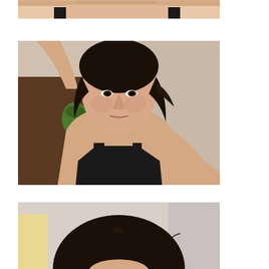[Figure (photo): Cropped top portion of a person's face and upper body wearing a black tank top, showing skin tones and chin area, against a light background.]
[Figure (photo): Full portrait photo of a person with short dark wavy hair, looking directly at the camera, wearing a black tank top, with hand raised behind head. A green decorative item and dark wooden furniture visible in background.]
[Figure (photo): Cropped lower portion of a portrait showing the top of a person's head with short dark hair against a light background.]